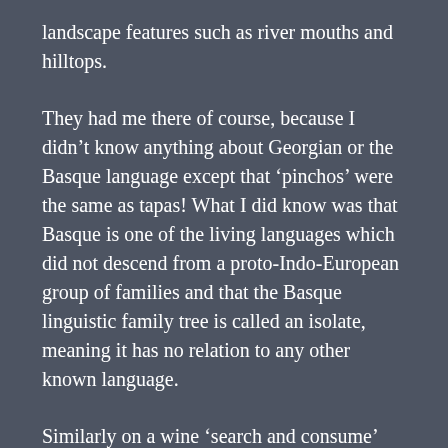landscape features such as river mouths and hilltops.
They had me there of course, because I didn't know anything about Georgian or the Basque language except that 'pinchos' were the same as tapas! What I did know was that Basque is one of the living languages which did not descend from a proto-Indo-European group of families and that the Basque linguistic family tree is called an isolate, meaning it has no relation to any other known language.
Similarly on a wine 'search and consume' mission in Sighnaghi – one of the premium wine growing areas in Georgia, – an elderly